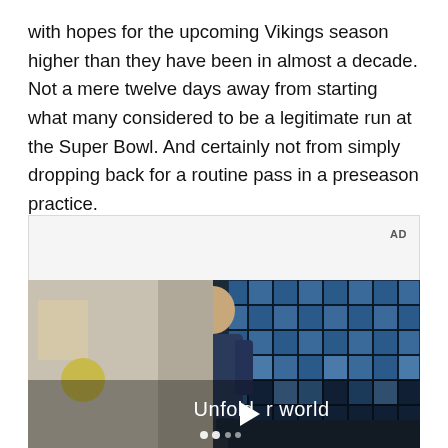with hopes for the upcoming Vikings season higher than they have been in almost a decade. Not a mere twelve days away from starting what many considered to be a legitimate run at the Super Bowl. And certainly not from simply dropping back for a routine pass in a preseason practice.
[Figure (screenshot): Advertisement video player showing a young man in a denim jacket standing in front of blue tiled windows, with text 'Unfold your world' and a play button overlay. AD label in upper right.]